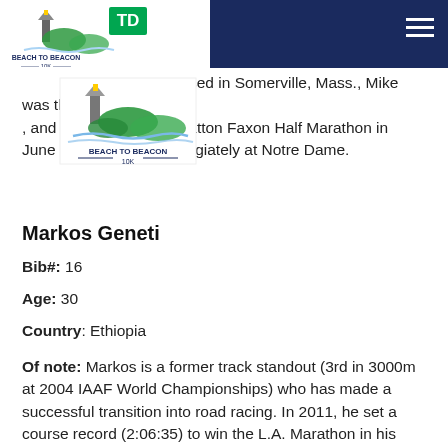TD Beach to Beacon 10K
Based in Somerville, Mass., Mike was the first , and sixth overall, at Stratton Faxon Half Marathon in June (1:06:37). Ran collegiately at Notre Dame.
Markos Geneti
Bib#: 16
Age: 30
Country: Ethiopia
Of note: Markos is a former track standout (3rd in 3000m at 2004 IAAF World Championships) who has made a successful transition into road racing. In 2011, he set a course record (2:06:35) to win the L.A. Marathon in his marathon debut, then followed up